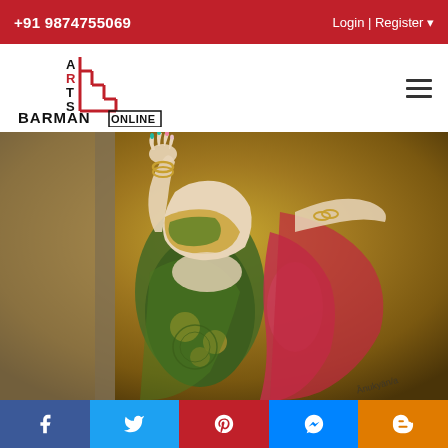+91 9874755069  Login | Register
[Figure (logo): Arts Barman Online logo with staircase design in red]
[Figure (illustration): Painting showing two women in traditional Indian dress, one with raised hand showing colorful nails, wearing green and red patterned sarees with gold jewelry against golden brown background. Title: Sisterhood III]
SISTERHOOD - III
₹ 25000 | $ 313
Facebook | Twitter | Pinterest | Messenger | Blogger